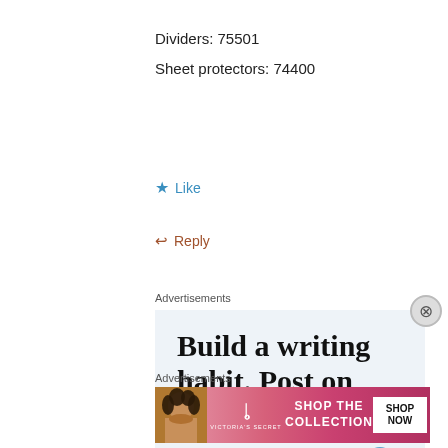Dividers: 75501
Sheet protectors: 74400
★ Like
↩ Reply
Advertisements
[Figure (screenshot): Advertisement: 'Build a writing habit. Post on the go.' with a WordPress-style icon on light blue background]
[Figure (other): Close/X button circle]
Advertisements
[Figure (other): Victoria's Secret advertisement: woman photo, VS logo, 'SHOP THE COLLECTION', 'SHOP NOW' button on pink/red gradient background]